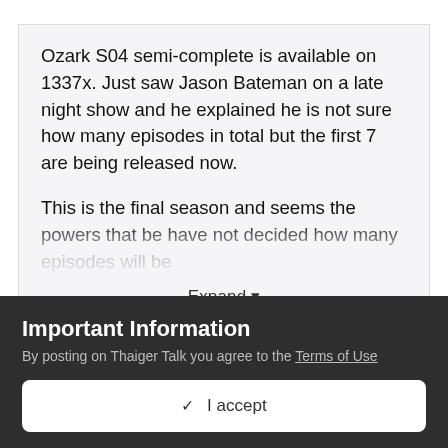Ozark S04 semi-complete is available on 1337x. Just saw Jason Bateman on a late night show and he explained he is not sure how many episodes in total but the first 7 are being released now.

This is the final season and seems the powers that be have not decided how many episodes will be
Expand ▾
I read on t'other forum that it's 7 episodes now and another 7 later on in the year, imdb hints at that also with a gap between eps 7 & 8 and no dates posted for
Important Information
By posting on Thaiger Talk you agree to the Terms of Use
✓ I accept